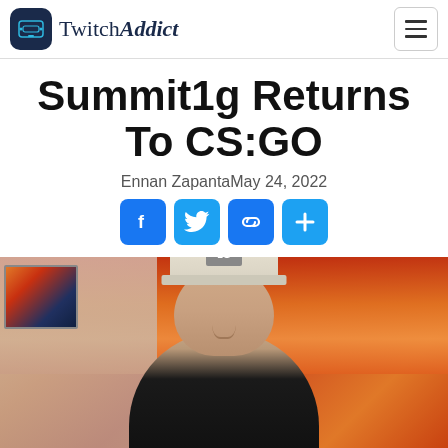TwitchAddict
Summit1g Returns To CS:GO
Ennan ZapantaMay 24, 2022
[Figure (other): Social share buttons: Facebook, Twitter, Link, Plus]
[Figure (photo): Photo of Summit1g (a man wearing a light-colored cap with a logo) smiling at the camera, with a vivid orange and red sunset sky and framed landscape artwork visible in the background.]